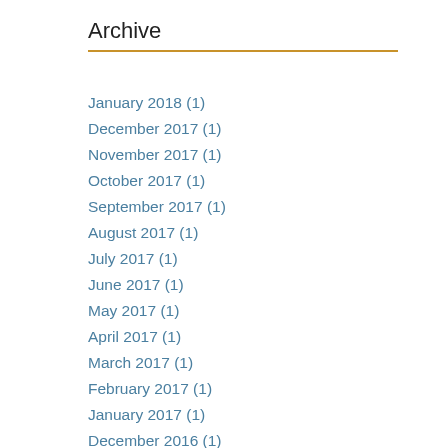Archive
January 2018 (1)
December 2017 (1)
November 2017 (1)
October 2017 (1)
September 2017 (1)
August 2017 (1)
July 2017 (1)
June 2017 (1)
May 2017 (1)
April 2017 (1)
March 2017 (1)
February 2017 (1)
January 2017 (1)
December 2016 (1)
November 2016 (1)
October 2016 (1)
September 2016 (1)